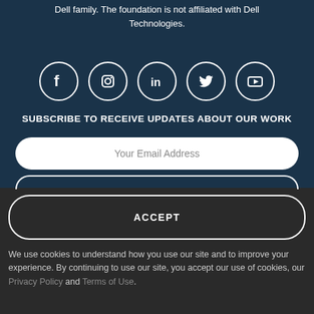Dell family. The foundation is not affiliated with Dell Technologies.
[Figure (illustration): Five social media icons in white circles on dark blue background: Facebook, Instagram, LinkedIn, Twitter, YouTube]
SUBSCRIBE TO RECEIVE UPDATES ABOUT OUR WORK
Your Email Address
ACCEPT
We use cookies to understand how you use our site and to improve your experience. By continuing to use our site, you accept our use of cookies, our Privacy Policy and Terms of Use.